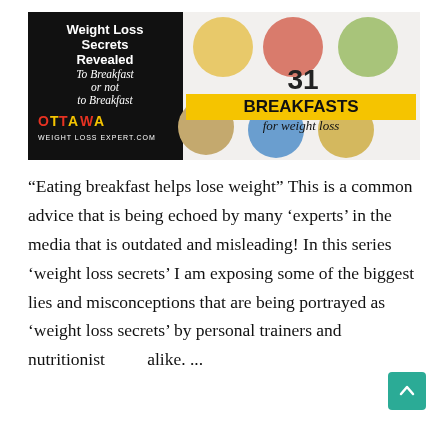[Figure (infographic): Banner image for weight loss article. Left side: black background with white bold text 'Weight Loss Secrets Revealed To Breakfast or not to Breakfast' with Ottawa Weight Loss Expert.com logo in red/yellow. Right side: collage of breakfast food photos with text '31 BREAKFASTS for weight loss' in bold yellow and black.]
“Eating breakfast helps lose weight” This is a common advice that is being echoed by many ‘experts’ in the media that is outdated and misleading! In this series ‘weight loss secrets’ I am exposing some of the biggest lies and misconceptions that are being portrayed as ‘weight loss secrets’ by personal trainers and nutritionists alike. ...